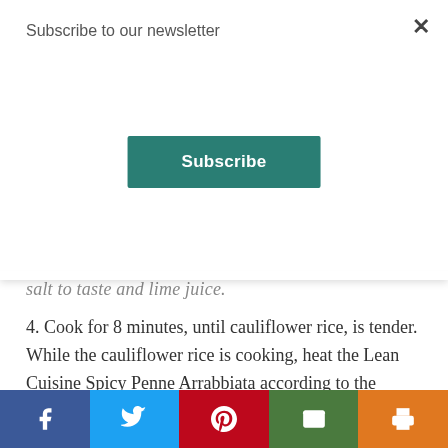Subscribe to our newsletter
Subscribe
...salt to taste and lime juice.
4. Cook for 8 minutes, until cauliflower rice, is tender. While the cauliflower rice is cooking, heat the Lean Cuisine Spicy Penne Arrabbiata according to the instructions on the box.
5. Plate the cauliflower rice and spoon the Lean Cuisine Spicy Penne
Facebook | Twitter | Pinterest | Email | Print